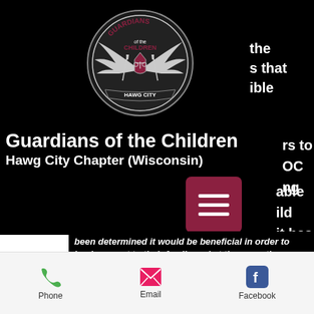[Figure (logo): Guardians of the Children Hawg City Chapter logo — circular badge with eagle wings, swords, scales of justice, and banner text]
Guardians of the Children
Hawg City Chapter (Wisconsin)
been determined it would be beneficial in order to lend support to their family and at the same time protect that child. Our members share a common goal in that we enjoy the open road on our iron horses and are
Phone   Email   Facebook